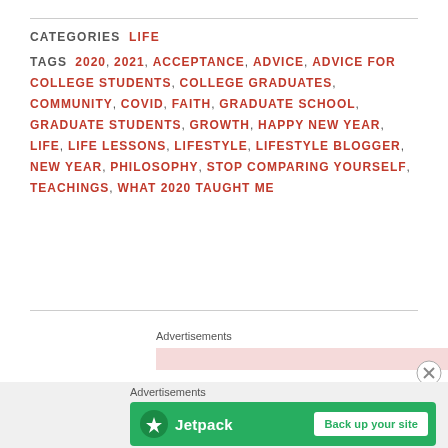CATEGORIES  LIFE
TAGS  2020, 2021, ACCEPTANCE, ADVICE, ADVICE FOR COLLEGE STUDENTS, COLLEGE GRADUATES, COMMUNITY, COVID, FAITH, GRADUATE SCHOOL, GRADUATE STUDENTS, GROWTH, HAPPY NEW YEAR, LIFE, LIFE LESSONS, LIFESTYLE, LIFESTYLE BLOGGER, NEW YEAR, PHILOSOPHY, STOP COMPARING YOURSELF, TEACHINGS, WHAT 2020 TAUGHT ME
Advertisements
Advertisements
[Figure (other): Jetpack advertisement banner with logo and 'Back up your site' button on green background]